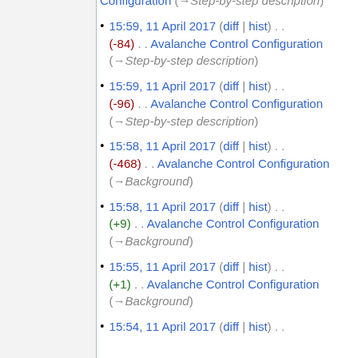Configuration (→Step-by-step description)
15:59, 11 April 2017 (diff | hist) . . (-84) . . Avalanche Control Configuration (→Step-by-step description)
15:59, 11 April 2017 (diff | hist) . . (-96) . . Avalanche Control Configuration (→Step-by-step description)
15:58, 11 April 2017 (diff | hist) . . (-468) . . Avalanche Control Configuration (→Background)
15:58, 11 April 2017 (diff | hist) . . (+9) . . Avalanche Control Configuration (→Background)
15:55, 11 April 2017 (diff | hist) . . (+1) . . Avalanche Control Configuration (→Background)
15:54, 11 April 2017 (diff | hist) . .